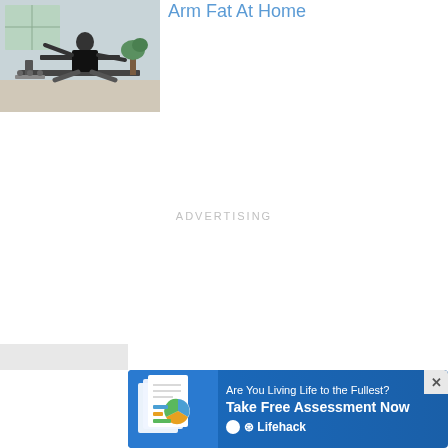[Figure (photo): Woman exercising on a rowing machine in a home gym setting with plants and dumbbells in background]
Arm Fat At Home
ADVERTISING
[Figure (screenshot): Close X button (gray square with white X)]
[Figure (infographic): Lifehack advertisement banner: Are You Living Life to the Fullest? Take Free Assessment Now - with Lifehack branding and document imagery]